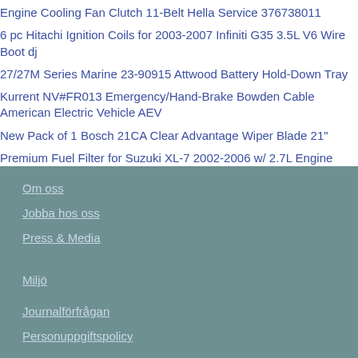Engine Cooling Fan Clutch 11-Belt Hella Service 376738011
6 pc Hitachi Ignition Coils for 2003-2007 Infiniti G35 3.5L V6 Wire Boot dj
27/27M Series Marine 23-90915 Attwood Battery Hold-Down Tray
Kurrent NV#FR013 Emergency/Hand-Brake Bowden Cable American Electric Vehicle AEV
New Pack of 1 Bosch 21CA Clear Advantage Wiper Blade 21"
Premium Fuel Filter for Suzuki XL-7 2002-2006 w/ 2.7L Engine
BRP Seadoo OEM Exhaust Strap Assembly 293850082 Resinator Strap
Om oss
Jobba hos oss
Press & Media
Miljö
Journalförfrågan
Personuppgiftspolicy